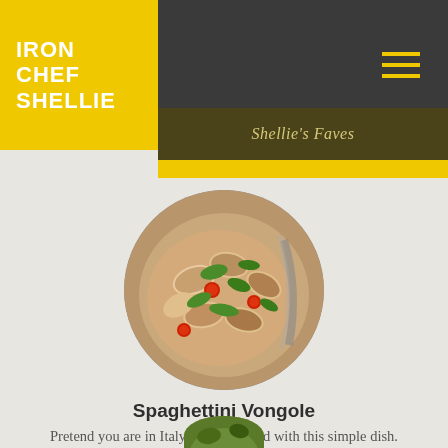IRON CHEF SHELLIE
Shellie's Faves
[Figure (photo): Circular photo of Spaghettini Vongole dish — pasta with clams, herbs, and cherry tomatoes viewed from above]
Spaghettini Vongole
Pretend you are in Italy all year round with this simple dish.
[Figure (photo): Partial circular photo at bottom of page showing a green food item]